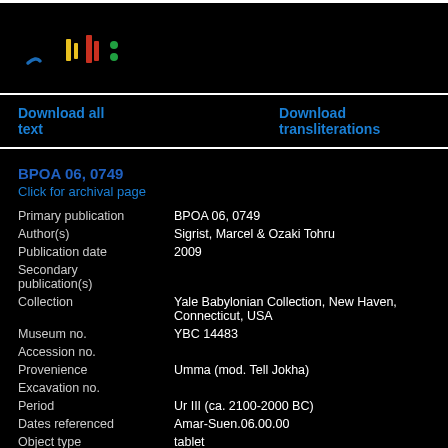[Figure (logo): CDLI logo with cuneiform-style symbols in blue, yellow, red, and green on black background]
Download all text
Download transliterations
BPOA 06, 0749
Click for archival page
| Field | Value |
| --- | --- |
| Primary publication | BPOA 06, 0749 |
| Author(s) | Sigrist, Marcel & Ozaki Tohru |
| Publication date | 2009 |
| Secondary publication(s) |  |
| Collection | Yale Babylonian Collection, New Haven, Connecticut, USA |
| Museum no. | YBC 14483 |
| Accession no. |  |
| Provenience | Umma (mod. Tell Jokha) |
| Excavation no. |  |
| Period | Ur III (ca. 2100-2000 BC) |
| Dates referenced | Amar-Suen.06.00.00 |
| Object type | tablet |
| Remarks |  |
| Material | clay |
| Language | Sumerian |